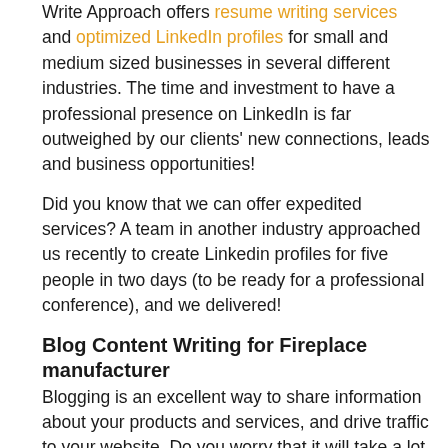Write Approach offers resume writing services and optimized LinkedIn profiles for small and medium sized businesses in several different industries. The time and investment to have a professional presence on LinkedIn is far outweighed by our clients' new connections, leads and business opportunities!
Did you know that we can offer expedited services? A team in another industry approached us recently to create Linkedin profiles for five people in two days (to be ready for a professional conference), and we delivered!
Blog Content Writing for Fireplace manufacturer
Blogging is an excellent way to share information about your products and services, and drive traffic to your website. Do you worry that it will take a lot of time to explain your business to us and come up with blog content writing ideas? We have worked with a number of clients in the Fireplace manufacturer sector,